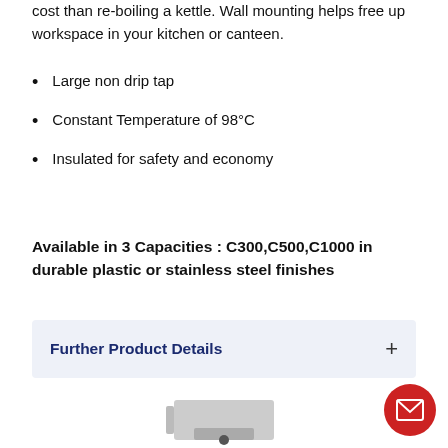cost than re-boiling a kettle. Wall mounting helps free up workspace in your kitchen or canteen.
Large non drip tap
Constant Temperature of 98°C
Insulated for safety and economy
Available in 3 Capacities : C300,C500,C1000 in durable plastic or stainless steel finishes
Further Product Details
[Figure (photo): Product image of a stainless steel hot water boiler unit]